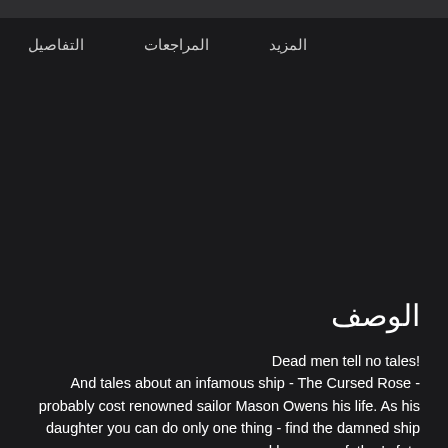التفاصيل   المراجعات   المزيد
الوصف
Dead men tell no tales!
And tales about an infamous ship - The Cursed Rose - probably cost renowned sailor Mason Owens his life. As his daughter you can do only one thing - find the damned ship and learn your father's fate.